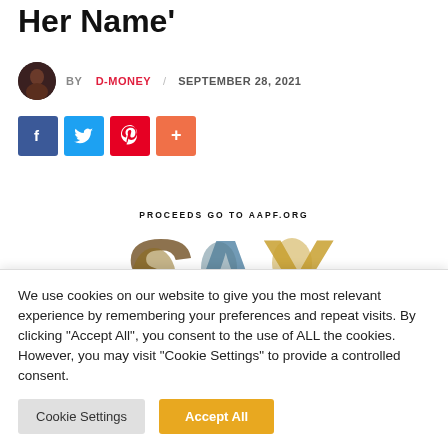Her Name'
BY D-MONEY / SEPTEMBER 28, 2021
[Figure (other): Social share buttons: Facebook (blue), Twitter (cyan), Pinterest (red), Plus (orange)]
PROCEEDS GO TO AAPF.ORG
[Figure (illustration): SAY text logo made of photos of Black women wearing colorful head coverings]
We use cookies on our website to give you the most relevant experience by remembering your preferences and repeat visits. By clicking "Accept All", you consent to the use of ALL the cookies. However, you may visit "Cookie Settings" to provide a controlled consent.
Cookie Settings   Accept All